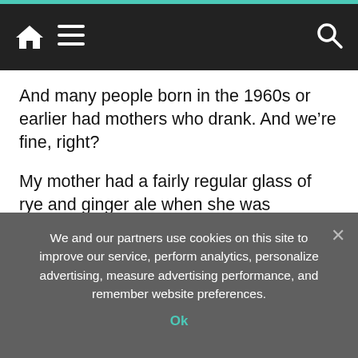[Navigation bar with home icon, menu icon, and search icon]
And many people born in the 1960s or earlier had mothers who drank. And we’re fine, right?
My mother had a fairly regular glass of rye and ginger ale when she was pregnant with me. And she smoked. And I graduated from medical school at the age of 23.
So my opinion, especially as someone who believes strongly in a woman’s right to make decisions about her own body, may come as a surprise: It’s medically best not to drink alcohol in pregnancy. Not even a little. The source of that viewpoint? My training and practice
We and our partners use cookies on this site to improve our service, perform analytics, personalize advertising, measure advertising performance, and remember website preferences.
Ok